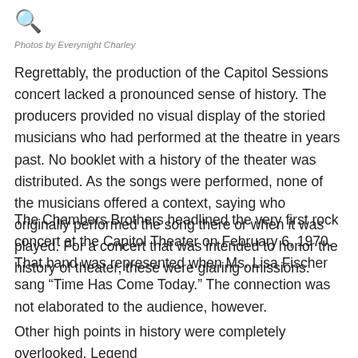[Figure (other): Search icon (magnifying glass)]
Photos by Everynight Charley
Regrettably, the production of the Capitol Sessions concert lacked a pronounced sense of history. The producers provided no visual display of the storied musicians who had performed at the theatre in years past. No booklet with a history of the theater was distributed. As the songs were performed, none of the musicians offered a context, saying who originally performed the song there or when it was played. For a concert that was intended to honor the history of theater, these were glaring omissions.
The Chambers Brothers headlined the very first rock concert at the Capitol Theater on February 6, 1970. That band was represented when Ms. Lisa Fischer sang “Time Has Come Today.” The connection was not elaborated to the audience, however.
Other high points in history were completely overlooked. Legend